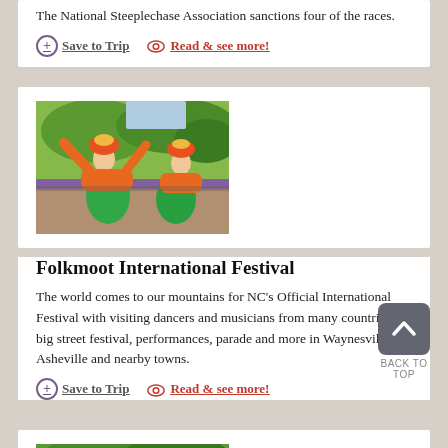The National Steeplechase Association sanctions four of the races.
Save to Trip   Read & see more!
[Figure (photo): Two women in colorful orange and green traditional folk festival costumes with headdresses, arms raised, dancing outdoors at Folkmoot International Festival.]
Folkmoot International Festival
The world comes to our mountains for NC's Official International Festival with visiting dancers and musicians from many countries, big street festival, performances, parade and more in Waynesville, Asheville and nearby towns.
Save to Trip   Read & see more!
[Figure (photo): Landscape photo of green mountain scenery with trees.]